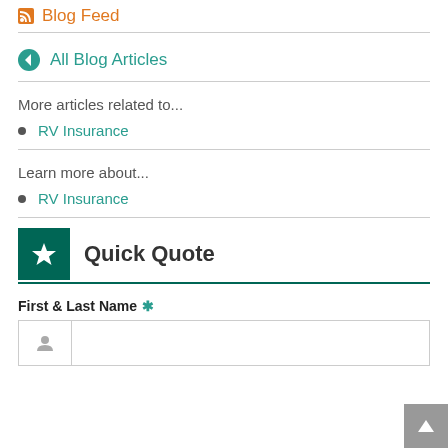Blog Feed
All Blog Articles
More articles related to...
RV Insurance
Learn more about...
RV Insurance
Quick Quote
First & Last Name *